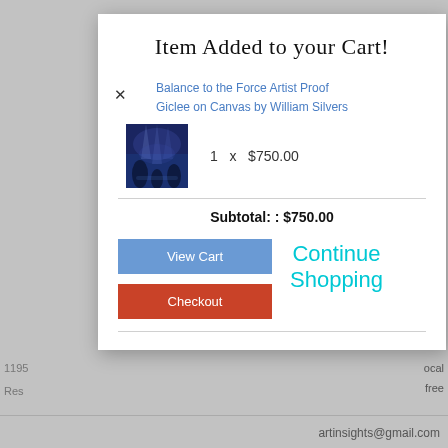Item Added to your Cart!
Balance to the Force Artist Proof Giclee on Canvas by William Silvers
1  x  $750.00
Subtotal: : $750.00
View Cart
Checkout
Continue Shopping
artinsights@gmail.com